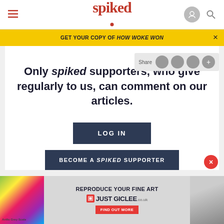spiked
GET YOUR COPY OF HOW WOKE WON
Only spiked supporters, who give regularly to us, can comment on our articles.
LOG IN
BECOME A SPIKED SUPPORTER
ABOUT
[Figure (photo): Advertisement banner for JUST GICLEE fine art reproduction service, with colorful image on left and 'REPRODUCE YOUR FINE ART' text in center]